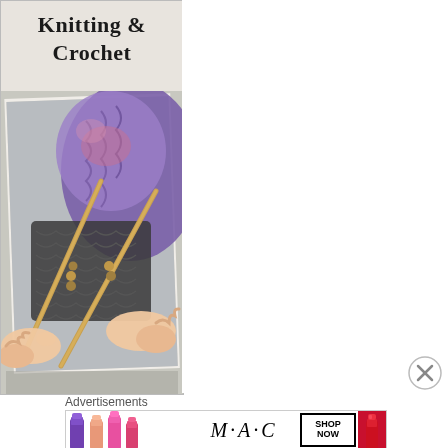Knitting & Crochet
[Figure (photo): Photo of hands knitting with wooden needles, showing a purple and multicolor knitted textile]
[Figure (illustration): Close X / close button circle icon]
Advertisements
[Figure (other): MAC cosmetics advertisement banner showing colorful lipsticks (purple, peach, pink, red), MAC logo in italic script, a SHOP NOW button, and a red lipstick on the right]